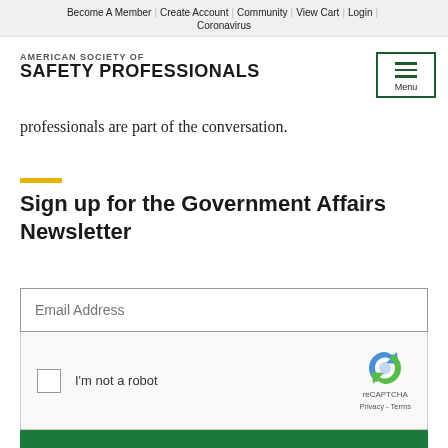Become A Member | Create Account | Community | View Cart | Login | Coronavirus
AMERICAN SOCIETY OF SAFETY PROFESSIONALS
professionals are part of the conversation.
Sign up for the Government Affairs Newsletter
[Figure (screenshot): Email address input field, reCAPTCHA widget with checkbox 'I'm not a robot', and green Submit button]